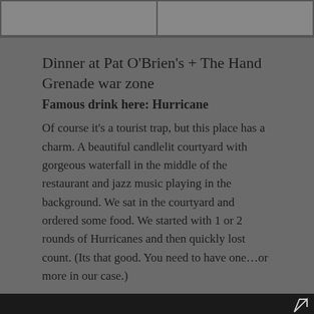[Figure (photo): Two gray image placeholders side by side at the top of the page]
Dinner at Pat O'Brien's + The Hand Grenade war zone
Famous drink here: Hurricane
Of course it's a tourist trap, but this place has a charm. A beautiful candlelit courtyard with gorgeous waterfall in the middle of the restaurant and jazz music playing in the background. We sat in the courtyard and ordered some food. We started with 1 or 2 rounds of Hurricanes and then quickly lost count. (Its that good. You need to have one…or more in our case.)
[Figure (photo): Dark photo of people at night, partially visible at bottom of page]